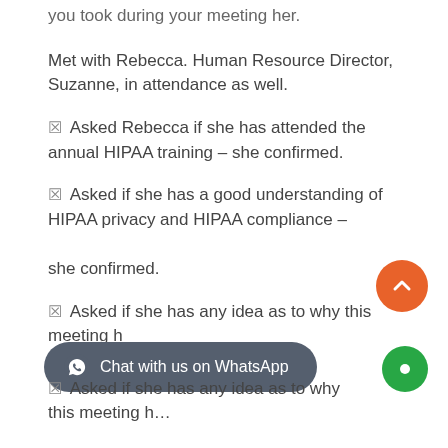you took during your meeting her.
Met with Rebecca. Human Resource Director, Suzanne, in attendance as well.
☑ Asked Rebecca if she has attended the annual HIPAA training – she confirmed.
☑ Asked if she has a good understanding of HIPAA privacy and HIPAA compliance –

she confirmed.
☑ Asked if she has any idea as to why this meeting has been called
☑ Asked if she has any idea as to why this meeting has been called (partial, cut off)